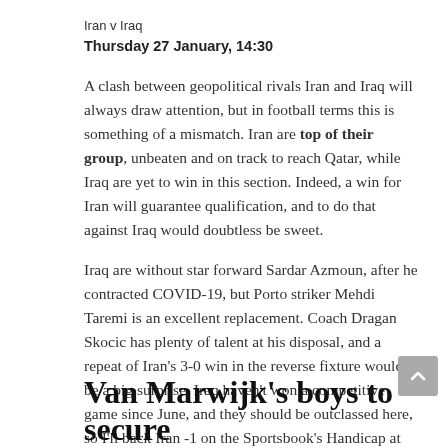Iran v Iraq
Thursday 27 January, 14:30
A clash between geopolitical rivals Iran and Iraq will always draw attention, but in football terms this is something of a mismatch. Iran are top of their group, unbeaten and on track to reach Qatar, while Iraq are yet to win in this section. Indeed, a win for Iran will guarantee qualification, and to do that against Iraq would doubtless be sweet.
Iraq are without star forward Sardar Azmoun, after he contracted COVID-19, but Porto striker Mehdi Taremi is an excellent replacement. Coach Dragan Skocic has plenty of talent at his disposal, and a repeat of Iran's 3-0 win in the reverse fixture wouldn't be a big surprise. Iraq haven't won a competitive game since June, and they should be outclassed here, so I'll back Iran -1 on the Sportsbook's Handicap at 2.35/4.
Van Marwijk's boys to secure